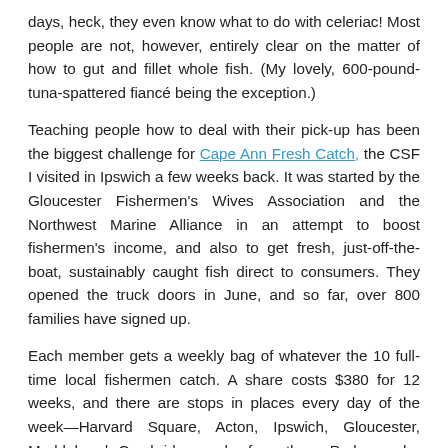days, heck, they even know what to do with celeriac! Most people are not, however, entirely clear on the matter of how to gut and fillet whole fish. (My lovely, 600-pound-tuna-spattered fiancé being the exception.)
Teaching people how to deal with their pick-up has been the biggest challenge for Cape Ann Fresh Catch, the CSF I visited in Ipswich a few weeks back. It was started by the Gloucester Fishermen's Wives Association and the Northwest Marine Alliance in an attempt to boost fishermen's income, and also to get fresh, just-off-the-boat, sustainably caught fish direct to consumers. They opened the truck doors in June, and so far, over 800 families have signed up.
Each member gets a weekly bag of whatever the 10 full-time local fishermen catch. A share costs $380 for 12 weeks, and there are stops in places every day of the week—Harvard Square, Acton, Ipswich, Gloucester, Marblehead, Cambridge, and a few others. Parkes—who calls himself the Boat to Fork Coordinator—is hoping they'll be able to do at least three sessions and go almost year round. It's tricky in February and March, he says, because weather makes it